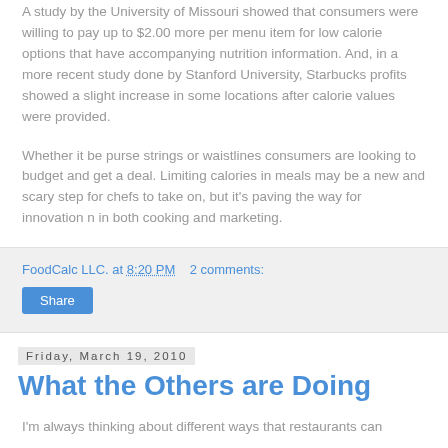A study by the University of Missouri showed that consumers were willing to pay up to $2.00 more per menu item for low calorie options that have accompanying nutrition information. And, in a more recent study done by Stanford University, Starbucks profits showed a slight increase in some locations after calorie values were provided.
Whether it be purse strings or waistlines consumers are looking to budget and get a deal. Limiting calories in meals may be a new and scary step for chefs to take on, but it's paving the way for innovation n in both cooking and marketing.
FoodCalc LLC. at 8:20 PM   2 comments:
Friday, March 19, 2010
What the Others are Doing
I'm always thinking about different ways that restaurants can